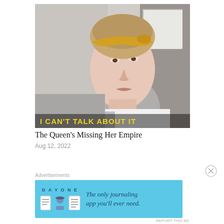[Figure (photo): A woman with a yellow/gold headband, light complexion, wearing a grey/white outfit, sitting in what appears to be a vehicle. Text overlay at bottom reads 'I CAN'T TALK ABOUT IT' in yellow capital letters.]
The Queen’s Missing Her Empire
Aug 12, 2022
Advertisements
[Figure (other): Advertisement banner for DAY ONE journaling app. Light blue background with DAY ONE logo and icons, text reads 'The only journaling app you'll ever need.']